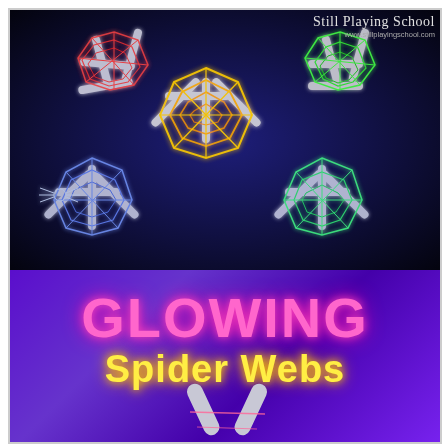[Figure (photo): Black-light illuminated glowing spider webs made from popsicle sticks and rubber bands in red, yellow, green, and blue/purple colors on a dark background. Toy spiders are visible near the webs.]
[Figure (photo): Purple/violet background with glowing pink text 'GLOWING' and yellow text 'Spider Webs', with popsicle stick web frame at bottom.]
Still Playing School
www.stillplayingschool.com
GLOWING Spider Webs